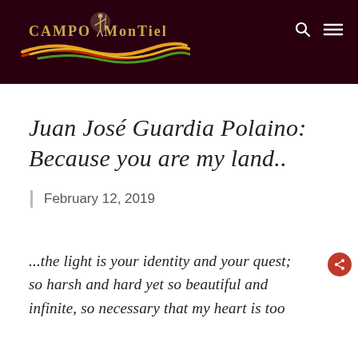[Figure (logo): Campo de Montiel website logo with silhouette of a warrior/archer figure, decorative colorful wave swoosh in red/orange/yellow/green, and stylized text 'CAMPO MONTIEL' in gold on dark maroon background with search and menu icons]
Juan José Guardia Polaino: Because you are my land..
February 12, 2019
...the light is your identity and your quest; so harsh and hard yet so beautiful and infinite, so necessary that my heart is too